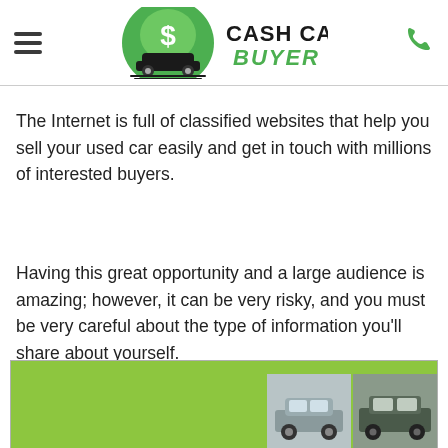Cash Cars Buyer
The Internet is full of classified websites that help you sell your used car easily and get in touch with millions of interested buyers.
Having this great opportunity and a large audience is amazing; however, it can be very risky, and you must be very careful about the type of information you'll share about yourself.
[Figure (photo): Green banner with two car photos at the bottom of the page]